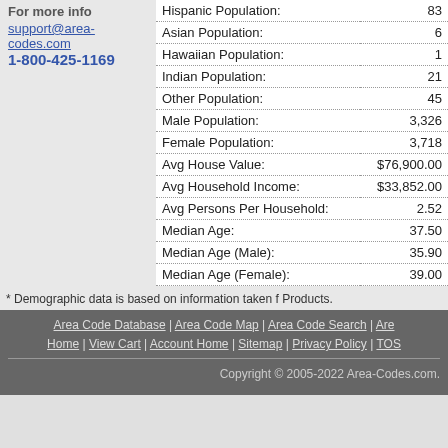For more info
support@area-codes.com
1-800-425-1169
| Field | Value |
| --- | --- |
| Hispanic Population: | 83 |
| Asian Population: | 6 |
| Hawaiian Population: | 1 |
| Indian Population: | 21 |
| Other Population: | 45 |
| Male Population: | 3,326 |
| Female Population: | 3,718 |
| Avg House Value: | $76,900.00 |
| Avg Household Income: | $33,852.00 |
| Avg Persons Per Household: | 2.52 |
| Median Age: | 37.50 |
| Median Age (Male): | 35.90 |
| Median Age (Female): | 39.00 |
* Demographic data is based on information taken from Products.
Area Code Database | Area Code Map | Area Code Search | Are Home | View Cart | Account Home | Sitemap | Privacy Policy | TOS
Copyright © 2005-2022 Area-Codes.com.